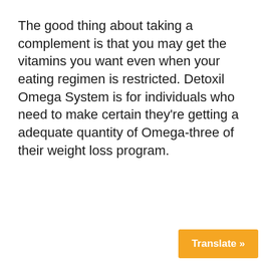The good thing about taking a complement is that you may get the vitamins you want even when your eating regimen is restricted. Detoxil Omega System is for individuals who need to make certain they're getting a adequate quantity of Omega-three of their weight loss program.
Translate »